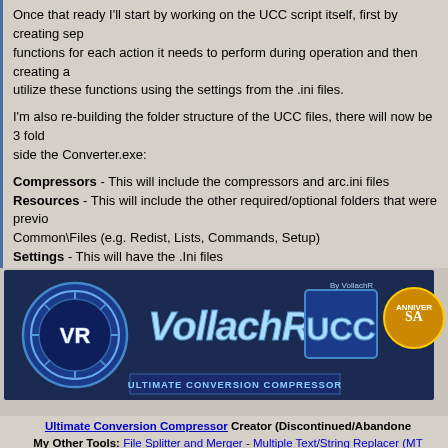Once that ready I'll start by working on the UCC script itself, first by creating separate functions for each action it needs to perform during operation and then creating a main to utilize these functions using the settings from the .ini files.
I'm also re-building the folder structure of the UCC files, there will now be 3 folders side the Converter.exe:
Compressors - This will include the compressors and arc.ini files
Resources - This will include the other required/optional folders that were previously in Common\Files (e.g. Redist, Lists, Commands, Setup)
Settings - This will have the .Ini files
That's it, It will take a while, some functions are pretty complex but that's still to come.
Enjoy your day 🙂
[Figure (logo): VollachR Ultimate Conversion Compressor (UCC) banner logo with blue circular VR emblem, stylized text VollachR, UCC logo, and anniversary badge]
Ultimate Conversion Compressor Creator (Discontinued/Abandoned)
My Other Tools: File Splitter and Merger - Multiple Text/String Replacer (MT) - Files & Folders Lister
Microsoft Certified Professional
Retired Conversion Creator